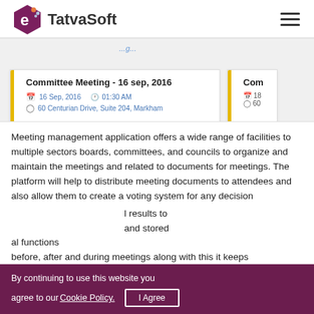TatvaSoft
[Figure (screenshot): Screenshot of a meeting management application showing a card for 'Committee Meeting - 16 sep, 2016' with date 16 Sep, 2016, time 01:30 AM, and location 60 Centurian Drive, Suite 204, Markham, plus a partial second card.]
Meeting management application offers a wide range of facilities to multiple sectors boards, committees, and councils to organize and maintain the meetings and related to documents for meetings. The platform will help to distribute meeting documents to attendees and also allow them to create a voting system for any decision and results to and stored al functions before, after and during meetings along with this it keeps
By continuing to use this website you agree to our Cookie Policy. I Agree